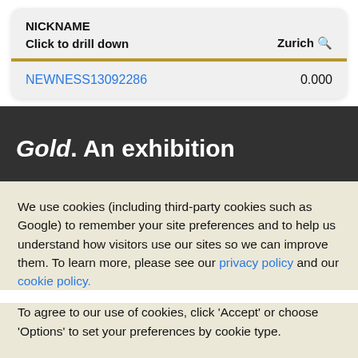| NICKNAME |  |
| --- | --- |
| Click to drill down | Zurich 🔍 |
| NEWNESS13092286 | 0.000 |
Gold. An exhibition
We use cookies (including third-party cookies such as Google) to remember your site preferences and to help us understand how visitors use our sites so we can improve them. To learn more, please see our privacy policy and our cookie policy.
To agree to our use of cookies, click 'Accept' or choose 'Options' to set your preferences by cookie type.